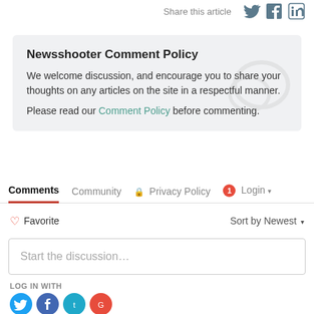Share this article
Newsshooter Comment Policy
We welcome discussion, and encourage you to share your thoughts on any articles on the site in a respectful manner.
Please read our Comment Policy before commenting.
Comments   Community   Privacy Policy   1   Login
Favorite   Sort by Newest
Start the discussion...
LOG IN WITH